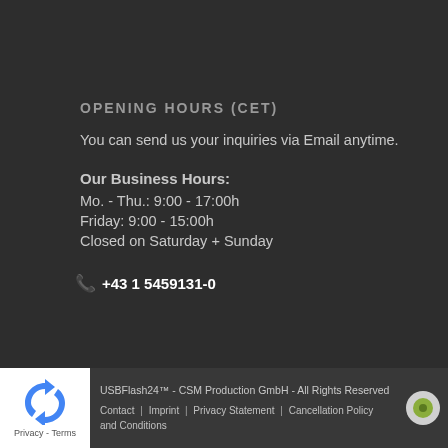OPENING HOURS (CET)
You can send us your inquiries via Email anytime.
Our Business Hours:
Mo. - Thu.: 9:00 - 17:00h
Friday: 9:00 - 15:00h
Closed on Saturday + Sunday
+43 1 5459131-0
USBFlash24™ - CSM Production GmbH - All Rights Reserved | Contact | Imprint | Privacy Statement | Cancellation Policy | Terms and Conditions